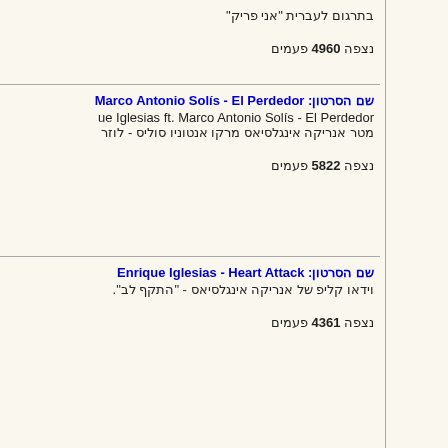בתרגום לעברית "אני פריק"
נצפה 4960 פעמים
שם הסרטון: Marco Antonio Solís - El Perdedor
ue Iglesias ft. Marco Antonio Solís - El Perdedor
מטר אנריקה אינגלסיאס מרקו אנטוניו סוליס - לוזר
נצפה 5822 פעמים
שם הסרטון: Enrique Iglesias - Heart Attack
וידאו קליפ של אנריקה אינגלסיאס - "התקף לב".
נצפה 4361 פעמים